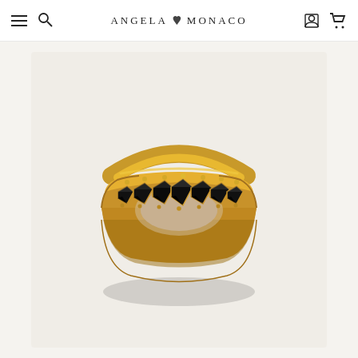ANGELA MONACO — navigation header with hamburger menu, search, account, and cart icons
[Figure (photo): Product photo of a gold band ring set with two rows of faceted black gemstones (black diamonds), displayed on a light grey/white surface. The ring features an ornate gold prong setting with textured granulation detail along the edges.]